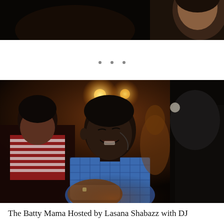[Figure (photo): Cropped top portion of a photo showing a person's face/head partially visible at top right, dark background, low-light setting.]
· · ·
[Figure (photo): A dimly lit nightclub or party scene showing a young man wearing a blue checkered shirt, eyes closed and smiling, dancing or moving. Other people are visible in the background under warm red/orange lighting. A person in dark clothing is visible in the foreground right.]
The Batty Mama Hosted by Lasana Shabazz with DJ